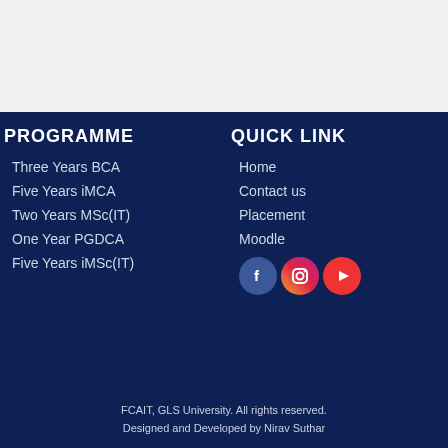PROGRAMME
Three Years BCA
Five Years iMCA
Two Years MSc(IT)
One Year PGDCA
Five Years iMSc(IT)
QUICK LINK
Home
Contact us
Placement
Moodle
[Figure (illustration): Social media icons: Facebook, Instagram, YouTube]
FCAIT, GLS University. All rights reserved.
Designed and Developed by Nirav Suthar